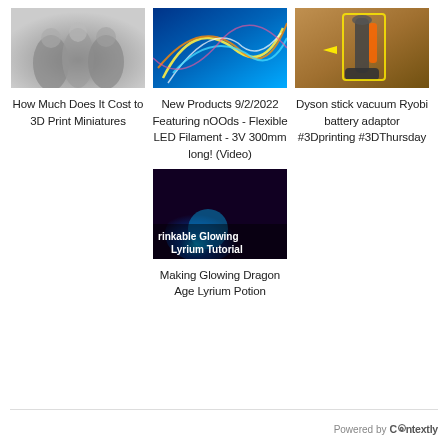[Figure (photo): Gray-scale 3D printed miniature figurines]
How Much Does It Cost to 3D Print Miniatures
[Figure (photo): Colorful neon LED light trails on blue background]
New Products 9/2/2022 Featuring nOOds - Flexible LED Filament - 3V 300mm long! (Video)
[Figure (photo): Dyson stick vacuum and Ryobi battery adaptor on wooden surface with yellow highlight arrows]
Dyson stick vacuum Ryobi battery adaptor #3Dprinting #3DThursday
[Figure (screenshot): Drinkable Glowing Lyrium Tutorial thumbnail - dark blue/purple glowing liquid scene with text overlay]
Making Glowing Dragon Age Lyrium Potion
Powered by Contextly